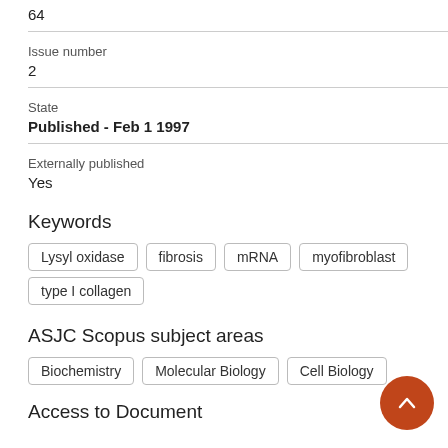64
Issue number
2
State
Published - Feb 1 1997
Externally published
Yes
Keywords
Lysyl oxidase
fibrosis
mRNA
myofibroblast
type I collagen
ASJC Scopus subject areas
Biochemistry
Molecular Biology
Cell Biology
Access to Document